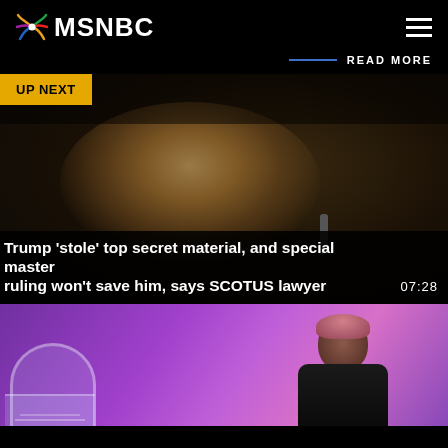MSNBC
READ MORE
[Figure (screenshot): Video thumbnail showing a man speaking at a podium in a dark arena setting, with 'UP NEXT' badge in yellow. Caption reads: Trump 'stole' top secret material, and special master ruling won't save him, says SCOTUS lawyer. Duration: 07:28]
[Figure (screenshot): Video thumbnail showing a woman with short pink hair against a purple/violet background with a capitol building dome visible on the left]